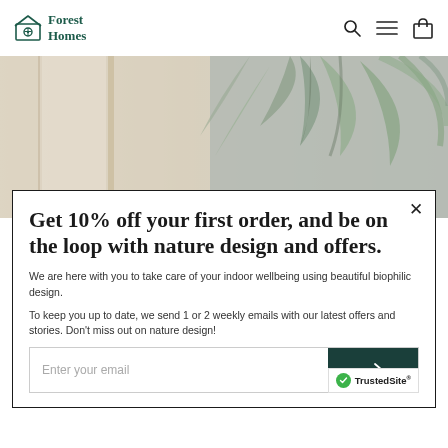Forest Homes
[Figure (photo): Interior room photo with tropical palm leaf wallpaper in grey tones and a light-colored door/window frame]
Get 10% off your first order, and be on the loop with nature design and offers.
We are here with you to take care of your indoor wellbeing using beautiful biophilic design.
To keep you up to date, we send 1 or 2 weekly emails with our latest offers and stories. Don't miss out on nature design!
Enter your email